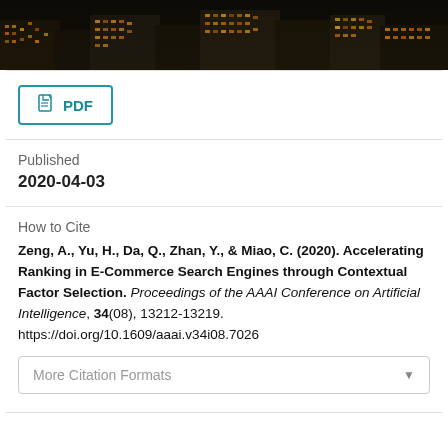[Figure (photo): Nighttime cityscape photograph showing illuminated skyscrapers with orange/yellow lit windows against a dark sky]
PDF
Published
2020-04-03
How to Cite
Zeng, A., Yu, H., Da, Q., Zhan, Y., & Miao, C. (2020). Accelerating Ranking in E-Commerce Search Engines through Contextual Factor Selection. Proceedings of the AAAI Conference on Artificial Intelligence, 34(08), 13212-13219. https://doi.org/10.1609/aaai.v34i08.7026
More Citation Formats